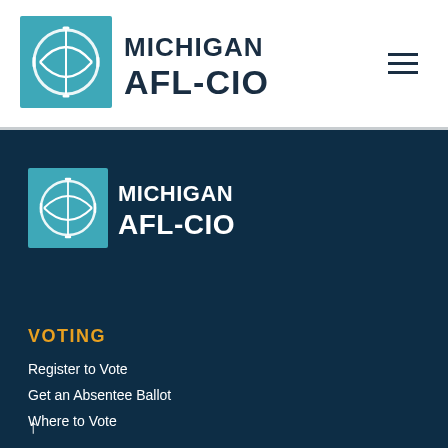[Figure (logo): Michigan AFL-CIO logo in header — teal square with globe/gear icon and dark navy bold text MICHIGAN AFL-CIO]
[Figure (logo): Michigan AFL-CIO logo in footer — teal square with globe/gear icon and white bold text MICHIGAN AFL-CIO on dark navy background]
VOTING
Register to Vote
Get an Absentee Ballot
Where to Vote